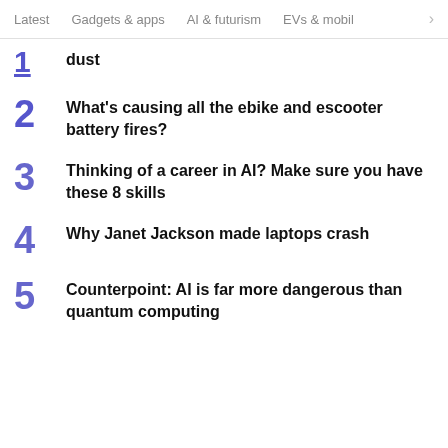Latest  Gadgets & apps  AI & futurism  EVs & mobil  >
1  dust
2  What's causing all the ebike and escooter battery fires?
3  Thinking of a career in AI? Make sure you have these 8 skills
4  Why Janet Jackson made laptops crash
5  Counterpoint: AI is far more dangerous than quantum computing